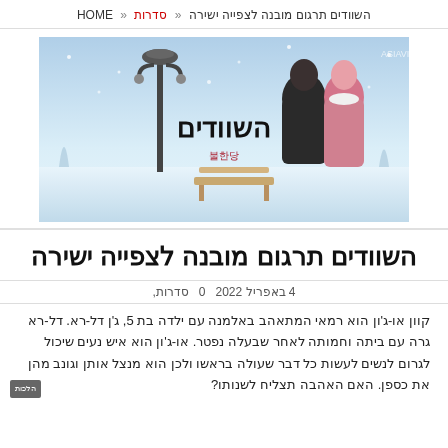HOME « סדרות « השוודים תרגום מובנה לצפייה ישירה
[Figure (photo): Promotional poster for a Korean drama 'השוודים' (Cheaters/The Swindlers) showing a couple in winter snow scenery with a street lamp and bench. Hebrew title overlay visible.]
השוודים תרגום מובנה לצפייה ישירה
4 באפריל 2022  0  סדרות,
קוון או-ג'ון הוא רמאי המתאהב באלמנה עם ילדה בת 5, ג'ן דל-רא. דל-רא גרה עם ביתה וחמותה לאחר שבעלה נפטר. או-ג'ון הוא איש נעים שיכול לגרום לנשים לעשות כל דבר שעולה בראשו ולכן הוא מנצל אותן וגונב מהן את כספן. האם האהבה תצליח לשנותו?